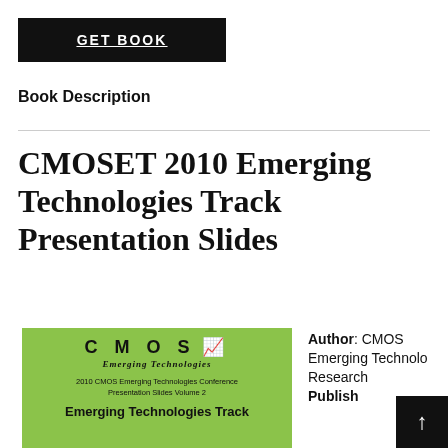[Figure (other): Black button with white underlined text 'GET BOOK']
Book Description
CMOSET 2010 Emerging Technologies Track Presentation Slides
[Figure (other): Book cover with green background showing CMOS Emerging Technologies logo, text '2010 CMOS Emerging Technologies Conference Presentation Slides Volume 2' and 'Emerging Technologies Track']
Author: CMOS Emerging Technologies Research Publisher: